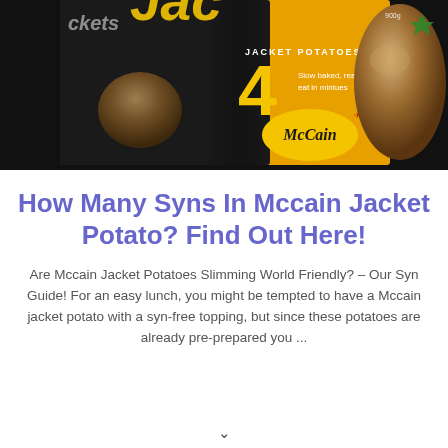[Figure (photo): Photo of McCain Jacket Potatoes box packaging — black and yellow/gold box showing '4 Jacket Potatoes, Slow baked, ready to eat in minutes' with McCain logo and baked potatoes visible]
How Many Syns In Mccain Jacket Potato? Find Out Here!
Are Mccain Jacket Potatoes Slimming World Friendly? – Our Syn Guide! For an easy lunch, you might be tempted to have a Mccain jacket potato with a syn-free topping, but since these potatoes are already pre-prepared you ...